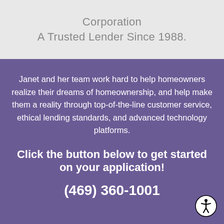Corporation
A Trusted Lender Since 1988.
Janet and her team work hard to help homeowners realize their dreams of homeownership, and help make them a reality through top-of-the-line customer service, ethical lending standards, and advanced technology platforms.
Click the button below to get started on your application!
(469) 360-1001